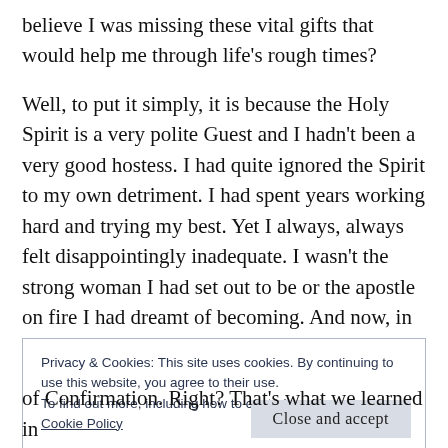believe I was missing these vital gifts that would help me through life's rough times?
Well, to put it simply, it is because the Holy Spirit is a very polite Guest and I hadn't been a very good hostess. I had quite ignored the Spirit to my own detriment. I had spent years working hard and trying my best. Yet I always, always felt disappointingly inadequate. I wasn't the strong woman I had set out to be or the apostle on fire I had dreamt of becoming. And now, in a moment of crisis, I found my hands empty.
Privacy & Cookies: This site uses cookies. By continuing to use this website, you agree to their use.
To find out more, including how to control cookies, see here:
Cookie Policy
Close and accept
of Confirmation. Right? That's what we learned in